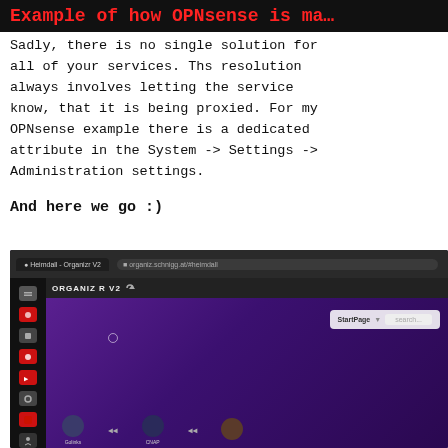Example of how OPNsense is ma…
Sadly, there is no single solution for all of your services. Ths resolution always involves letting the service know, that it is being proxied. For my OPNsense example there is a dedicated attribute in the System -> Settings -> Administration settings.
And here we go :)
[Figure (screenshot): Browser screenshot showing the Organizr V2 web application with a purple/dark background, sidebar navigation icons on the left, and a StartPage widget in the upper right area. Bottom of the screen shows Golinks and CNAP app icons.]